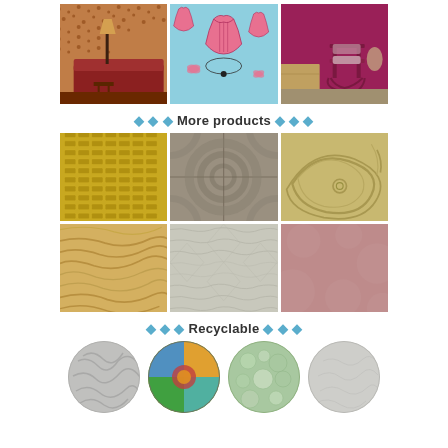[Figure (photo): Three interior/wallpaper product photos in a row: left shows a warm brown leopard-print wallpaper with a lamp and striped sofa; center shows a light blue wallpaper with corset/lingerie illustrations; right shows a deep magenta/raspberry colored wall with a rocking chair and wooden furniture.]
◆ ◆ ◆ More products ◆ ◆ ◆
[Figure (photo): Six product material texture photos in a 3x2 grid: top-left yellow embossed grid pattern; top-center metallic pewter stone tiles; top-right pale wood with swirling grain; bottom-left light oak wood grain; bottom-center light gray textured surface; bottom-right dusty rose/pink smooth surface.]
◆ ◆ ◆ Recyclable ◆ ◆ ◆
[Figure (photo): Four circular images in a row showing recyclable materials: silver/metallic crumpled material, colorful glass/plastic items, pale green glass aggregate, light gray stone or mineral material.]